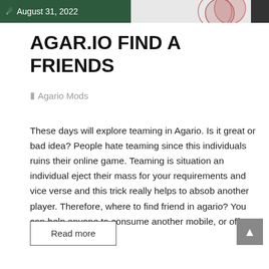August 31, 2022
AGAR.IO FIND A FRIENDS
Agario Mods
These days will explore teaming in Agario. Is it great or bad idea? People hate teaming since this individuals ruins their online game. Teaming is situation an individual eject their mass for your requirements and vice verse and this trick really helps to absob another player. Therefore, where to find friend in agario? You can help anyone to consume another mobile, or offer...
Read more